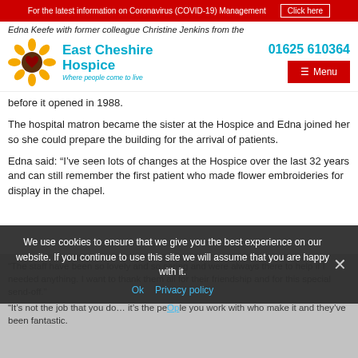For the latest information on Coronavirus (COVID-19) Management   Click here
Edna Keefe with former colleague Christine Jenkins from the
[Figure (logo): East Cheshire Hospice sunflower logo with text 'East Cheshire Hospice – Where people come to live' and phone number 01625 610364 and red Menu button]
before it opened in 1988.
The hospital matron became the sister at the Hospice and Edna joined her so she could prepare the building for the arrival of patients.
Edna said: “I’ve seen lots of changes at the Hospice over the last 32 years and can still remember the first patient who made flower embroideries for display in the chapel.
“The staff have been so lovely and so caring and were always there to help if I needed anything. I want to thank them all for their friendship and for this special send-off.”
We use cookies to ensure that we give you the best experience on our website. If you continue to use this site we will assume that you are happy with it.
“It’s not the job that you do… it’s the people you work with who make it and they’ve been fantastic.